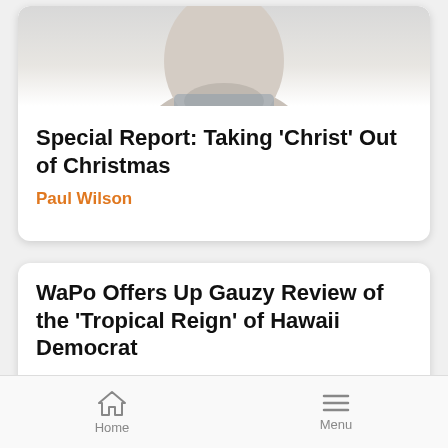[Figure (photo): Partial photo of a man's face (chin and lower face visible), cropped at top]
Special Report: Taking ‘Christ’ Out of Christmas
Paul Wilson
WaPo Offers Up Gauzy Review of the 'Tropical Reign' of Hawaii Democrat
Ken Shepherd
Home   Menu